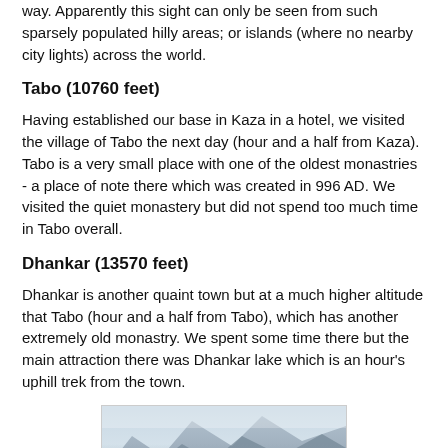way. Apparently this sight can only be seen from such sparsely populated hilly areas; or islands (where no nearby city lights) across the world.
Tabo (10760 feet)
Having established our base in Kaza in a hotel, we visited the village of Tabo the next day (hour and a half from Kaza). Tabo is a very small place with one of the oldest monastries - a place of note there which was created in 996 AD. We visited the quiet monastery but did not spend too much time in Tabo overall.
Dhankar (13570 feet)
Dhankar is another quaint town but at a much higher altitude that Tabo (hour and a half from Tabo), which has another extremely old monastry. We spent some time there but the main attraction there was Dhankar lake which is an hour's uphill trek from the town.
[Figure (photo): Mountain landscape photograph showing rocky peaks with mist or clouds, likely taken at high altitude near Dhankar]